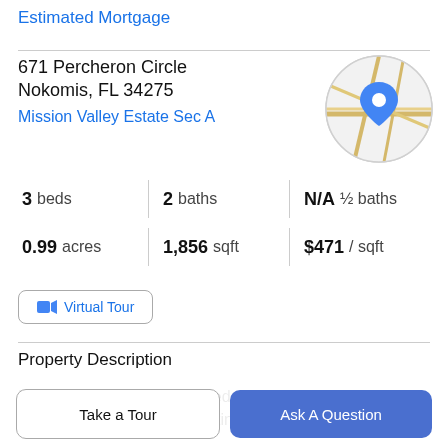Estimated Mortgage
671 Percheron Circle
Nokomis, FL 34275
Mission Valley Estate Sec A
[Figure (map): Circular map thumbnail with blue location pin marker showing street map]
3 beds  |  2 baths  |  N/A ½ baths
0.99 acres  |  1,856 sqft  |  $471 / sqft
Virtual Tour
Property Description
Beautifully remodeled and redesigned home with circular paver driveway, exterior lighting, and fully fenced and
Take a Tour
Ask A Question